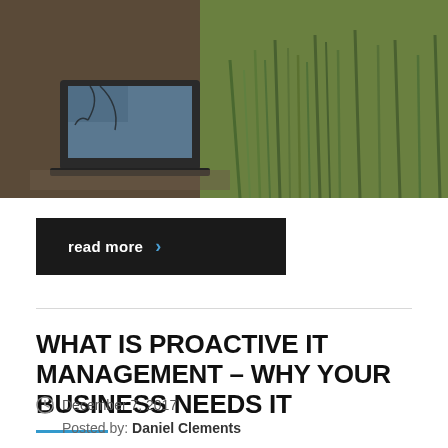[Figure (photo): Photo of a laptop outdoors in a field with tall green grass, warm vintage tones]
read more >
WHAT IS PROACTIVE IT MANAGEMENT – WHY YOUR BUSINESS NEEDS IT
December 7, 2017
Posted by: Daniel Clements